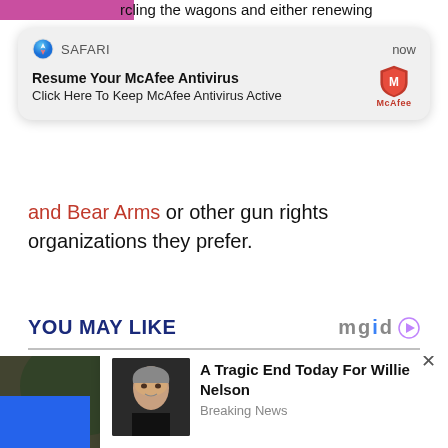rcling the wagons and either renewing
[Figure (screenshot): iOS Safari push notification popup for McAfee Antivirus with title 'Resume Your McAfee Antivirus' and subtitle 'Click Here To Keep McAfee Antivirus Active']
and Bear Arms or other gun rights organizations they prefer.
YOU MAY LIKE
[Figure (photo): Close-up photo of a blonde woman looking to the side, with a dark blurred background]
[Figure (screenshot): Ad popup overlay with close X button, showing a photo of Willie Nelson and headline 'A Tragic End Today For Willie Nelson' with category 'Breaking News']